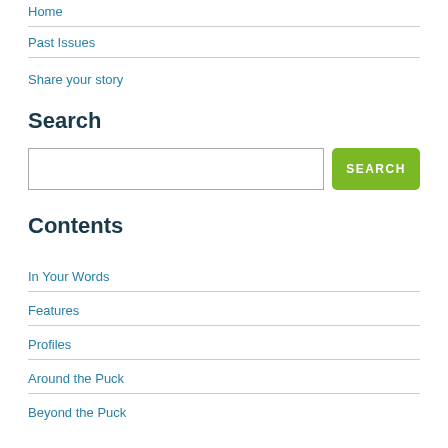Home
Past Issues
Share your story
Search
[Figure (other): Search input field with green SEARCH button]
Contents
In Your Words
Features
Profiles
Around the Puck
Beyond the Puck